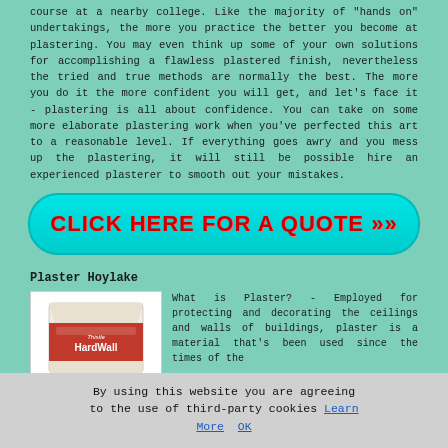course at a nearby college. Like the majority of "hands on" undertakings, the more you practice the better you become at plastering. You may even think up some of your own solutions for accomplishing a flawless plastered finish, nevertheless the tried and true methods are normally the best. The more you do it the more confident you will get, and let's face it - plastering is all about confidence. You can take on some more elaborate plastering work when you've perfected this art to a reasonable level. If everything goes awry and you mess up the plastering, it will still be possible hire an experienced plasterer to smooth out your mistakes.
[Figure (infographic): Cyan rounded rectangle button with bold red text reading CLICK HERE FOR A QUOTE >>]
Plaster Hoylake
[Figure (photo): Product image of Thistle HardWall plaster bag, red packaging]
What is Plaster? - Employed for protecting and decorating the ceilings and walls of buildings, plaster is a material that's been used since the times of the
By using this website you are agreeing to the use of third-party cookies Learn More OK